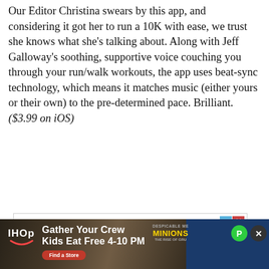Our Editor Christina swears by this app, and considering it got her to run a 10K with ease, we trust she knows what she's talking about. Along with Jeff Galloway's soothing, supportive voice couching you through your run/walk workouts, the app uses beat-sync technology, which means it matches music (either yours or their own) to the pre-determined pace. Brilliant. ($3.99 on iOS)
[Figure (other): Advertisement box with 'Exceptional Service' headline and 'Verity' subtitle, with small blue navigation icons in the top right corner]
[Figure (other): IHOP banner advertisement: 'Gather Your Crew Kids Eat Free 4-10 PM' with Minions movie co-branding, Find a Store button, and close/menu buttons on the right]